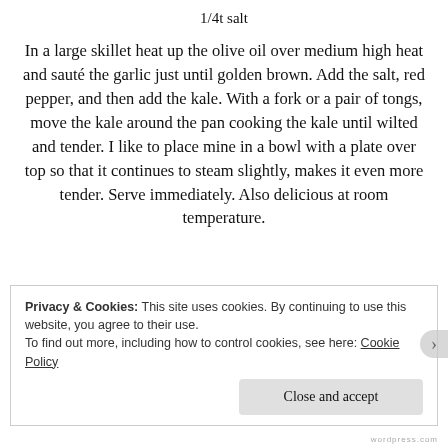1/4t salt
In a large skillet heat up the olive oil over medium high heat and sauté the garlic just until golden brown. Add the salt, red pepper, and then add the kale. With a fork or a pair of tongs, move the kale around the pan cooking the kale until wilted and tender. I like to place mine in a bowl with a plate over top so that it continues to steam slightly, makes it even more tender. Serve immediately. Also delicious at room temperature.
Privacy & Cookies: This site uses cookies. By continuing to use this website, you agree to their use.
To find out more, including how to control cookies, see here: Cookie Policy
Close and accept